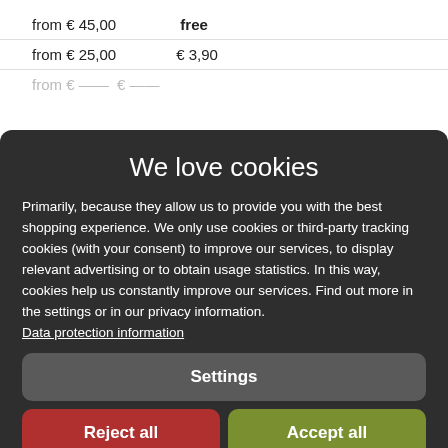from € 45,00   free
from € 25,00  € 3,90
We love cookies
Primarily, because they allow us to provide you with the best shopping experience. We only use cookies or third-party tracking cookies (with your consent) to improve our services, to display relevant advertising or to obtain usage statistics. In this way, cookies help us constantly improve our services. Find out more in the settings or in our privacy information. Data protection information
Settings
Reject all
Accept all